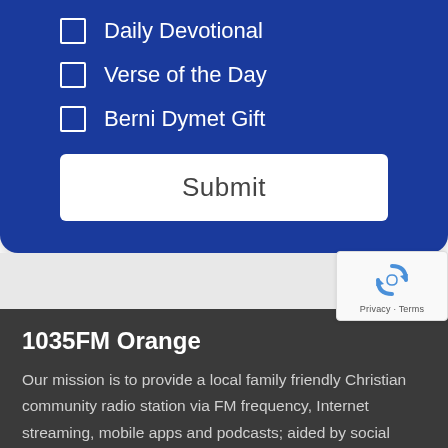Daily Devotional
Verse of the Day
Berni Dymet Gift
Submit
[Figure (logo): reCAPTCHA badge with Privacy and Terms links]
1035FM Orange
Our mission is to provide a local family friendly Christian community radio station via FM frequency, Internet streaming, mobile apps and podcasts; aided by social media platforms; and being a positive alternative to all other local media, by designing our music and talk